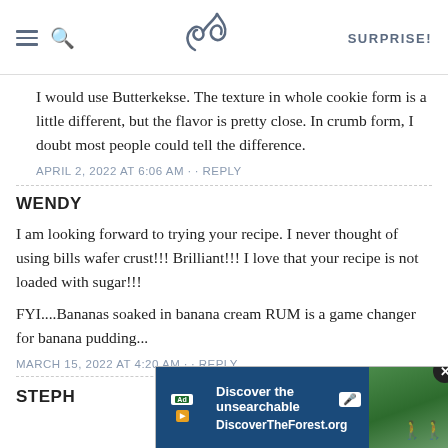SK — SURPRISE!
I would use Butterkekse. The texture in whole cookie form is a little different, but the flavor is pretty close. In crumb form, I doubt most people could tell the difference.
APRIL 2, 2022 AT 6:06 AM · · REPLY
WENDY
I am looking forward to trying your recipe. I never thought of using bills wafer crust!!! Brilliant!!! I love that your recipe is not loaded with sugar!!!
FYI....Bananas soaked in banana cream RUM is a game changer for banana pudding...
MARCH 15, 2022 AT 4:20 AM · · REPLY
STEPH
[Figure (screenshot): Advertisement banner for DiscoverTheForest.org with close button]